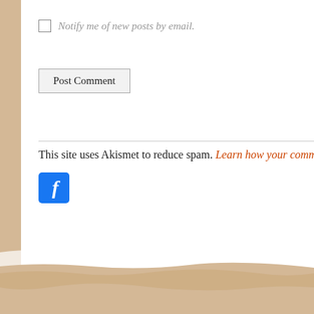Notify me of new posts by email.
Post Comment
This site uses Akismet to reduce spam. Learn how your comm...
[Figure (logo): Facebook logo icon — blue square with white italic f]